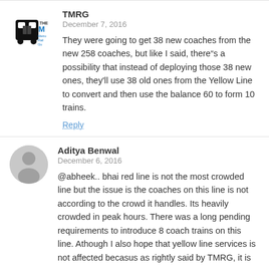[Figure (logo): TMRG Metro Rail Guide logo - black train icon with THE M Metro Rail Gu text]
TMRG
December 7, 2016
They were going to get 38 new coaches from the new 258 coaches, but like I said, there"s a possibility that instead of deploying those 38 new ones, they'll use 38 old ones from the Yellow Line to convert and then use the balance 60 to form 10 trains.
Reply
[Figure (illustration): Generic grey avatar silhouette for Aditya Benwal]
Aditya Benwal
December 6, 2016
@abheek.. bhai red line is not the most crowded line but the issue is the coaches on this line is not according to the crowd it handles. Its heavily crowded in peak hours. There was a long pending requirements to introduce 8 coach trains on this line. Athough I also hope that yellow line services is not affected becasus as rightly said by TMRG, it is the backbone of delhi...